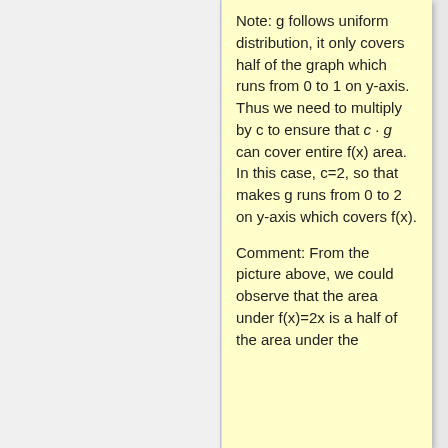Note: g follows uniform distribution, it only covers half of the graph which runs from 0 to 1 on y-axis. Thus we need to multiply by c to ensure that c · g can cover entire f(x) area. In this case, c=2, so that makes g runs from 0 to 2 on y-axis which covers f(x).
Comment: From the picture above, we could observe that the area under f(x)=2x is a half of the area under the